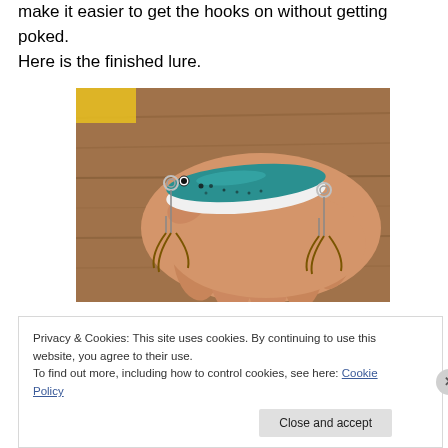make it easier to get the hooks on without getting poked.
Here is the finished lure.
[Figure (photo): A hand holding a finished fishing lure with a teal/green and white body, featuring two treble hooks and metal eye rings, photographed over a wooden surface.]
Privacy & Cookies: This site uses cookies. By continuing to use this website, you agree to their use.
To find out more, including how to control cookies, see here: Cookie Policy
Close and accept